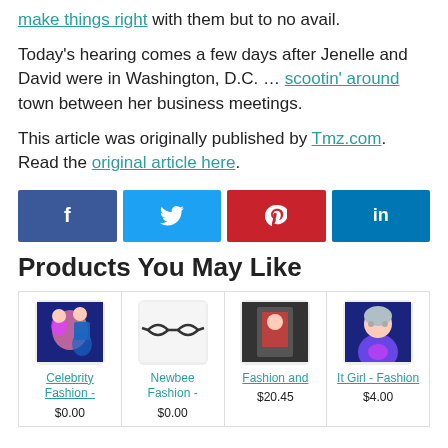make things right with them but to no avail.
Today's hearing comes a few days after Jenelle and David were in Washington, D.C. … scootin' around town between her business meetings.
This article was originally published by Tmz.com. Read the original article here.
[Figure (infographic): Row of four social media share buttons: Facebook (dark blue, 'f'), Twitter (light blue, bird icon), Pinterest (red, 'p' logo), LinkedIn (teal, 'in')]
Products You May Like
[Figure (infographic): Four product cards in a row: Celebrity Fashion -, Newbee Fashion -, Fashion and, It Girl - Fashion, each with a thumbnail image and price partially visible at bottom.]